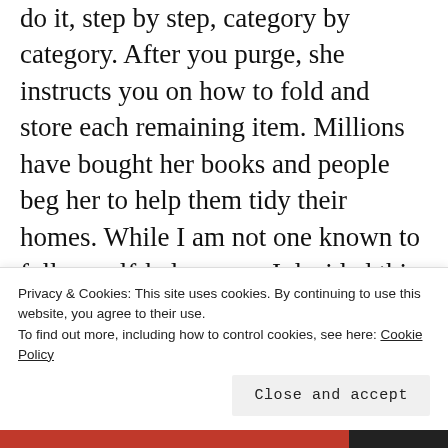do it, step by step, category by category. After you purge, she instructs you on how to fold and store each remaining item. Millions have bought her books and people beg her to help them tidy their homes. While I am not one known to follow self-help gurus, I decided this one might be helpful after a pile of sweaters in my closet collapsed on me, bringing to light the fact that I owned three purple cashmere sweaters. Seriously, how many
Privacy & Cookies: This site uses cookies. By continuing to use this website, you agree to their use.
To find out more, including how to control cookies, see here: Cookie Policy